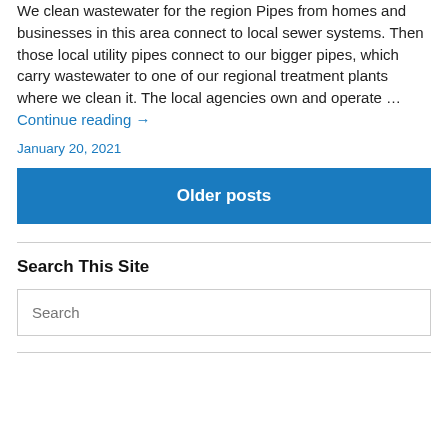We clean wastewater for the region Pipes from homes and businesses in this area connect to local sewer systems. Then those local utility pipes connect to our bigger pipes, which carry wastewater to one of our regional treatment plants where we clean it. The local agencies own and operate … Continue reading →
January 20, 2021
Older posts
Search This Site
Search